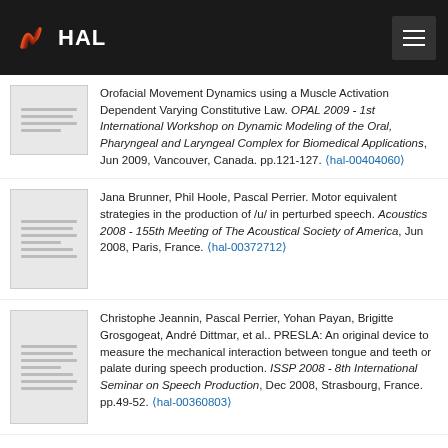HAL
Orofacial Movement Dynamics using a Muscle Activation Dependent Varying Constitutive Law. OPAL 2009 - 1st International Workshop on Dynamic Modeling of the Oral, Pharyngeal and Laryngeal Complex for Biomedical Applications, Jun 2009, Vancouver, Canada. pp.121-127. ⟨hal-00404060⟩
Jana Brunner, Phil Hoole, Pascal Perrier. Motor equivalent strategies in the production of /u/ in perturbed speech. Acoustics 2008 - 155th Meeting of The Acoustical Society of America, Jun 2008, Paris, France. ⟨hal-00372712⟩
Christophe Jeannin, Pascal Perrier, Yohan Payan, Brigitte Grosgogeat, André Dittmar, et al.. PRESLA: An original device to measure the mechanical interaction between tongue and teeth or palate during speech production. ISSP 2008 - 8th International Seminar on Speech Production, Dec 2008, Strasbourg, France. pp.49-52. ⟨hal-00360803⟩